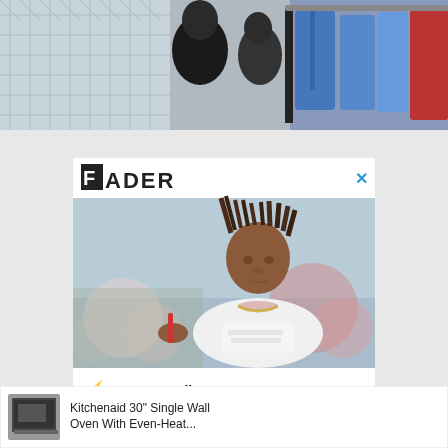[Figure (photo): Top portion of a webpage showing people near a chain-link fence and a clothing rack with colorful garments including denim and red items]
[Figure (screenshot): FADER magazine advertisement overlay showing a young man with dreadlocks and a white t-shirt with chain necklace, holding something, with a bokeh background. Logo reads 'FADER' with block F. CTA text: 'Stay on. Follow us on IG.' with lightning bolt emoji. Close X button in top right corner.]
[Figure (screenshot): Bottom advertisement banner: Kitchenaid 30 inch Single Wall Oven With Even-Heat... by Bray and Scarff Appliance, with oven image thumbnail and play/close ad icons]